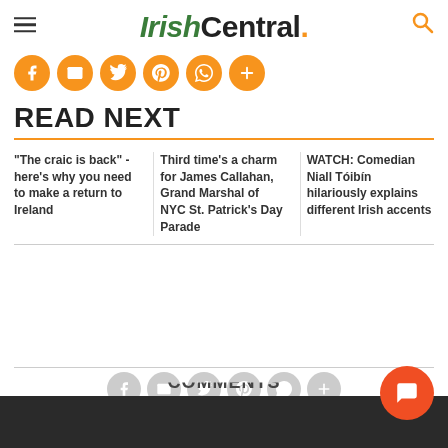IrishCentral.
[Figure (infographic): Row of six orange circular social media share buttons: Facebook, Email, Twitter, Pinterest, WhatsApp, More(+)]
READ NEXT
"The craic is back" - here's why you need to make a return to Ireland
Third time's a charm for James Callahan, Grand Marshal of NYC St. Patrick's Day Parade
WATCH: Comedian Niall Tóibín hilariously explains different Irish accents
[Figure (infographic): Row of six gray circular social media share buttons: Facebook, Email, Twitter, Pinterest, WhatsApp, More(+), plus partially visible COMMENTS text and orange chat button]